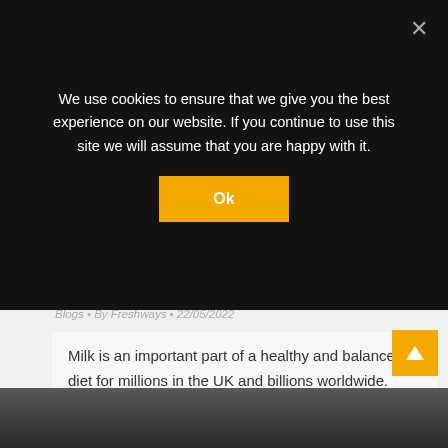We use cookies to ensure that we give you the best experience on our website. If you continue to use this site we will assume that you are happy with it.
Ok
Blogs • By Freshways • 22/05/2022
Milk is an important part of a healthy and balanced diet for millions in the UK and billions worldwide. Whether it is consumed over cereal, added to a recipe or you have a glass before bed, there are plenty of ways to work this nutritious drinkable dairy into a routine. With an interesting history behind…
[Figure (photo): Bottom strip of a dark photo, partially visible at the bottom of the page]